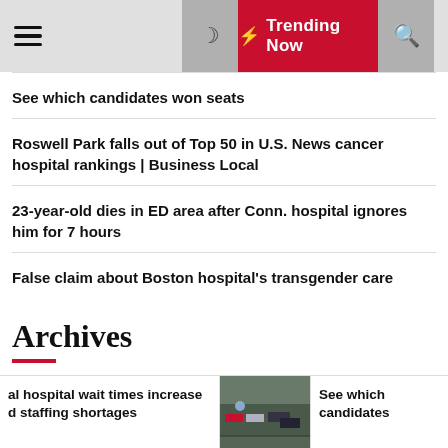≡ Trending Now 🔍
See which candidates won seats
Roswell Park falls out of Top 50 in U.S. News cancer hospital rankings | Business Local
23-year-old dies in ED area after Conn. hospital ignores him for 7 hours
False claim about Boston hospital's transgender care
Archives
al hospital wait times increase d staffing shortages
See which candidates